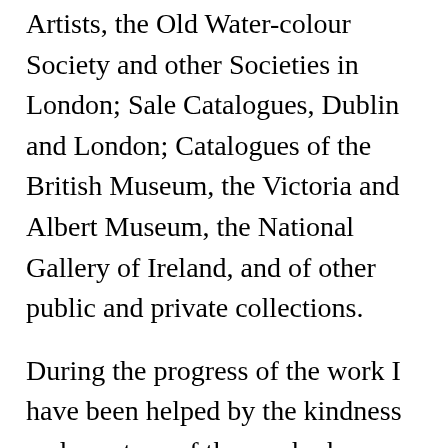Artists, the Old Water-colour Society and other Societies in London; Sale Catalogues, Dublin and London; Catalogues of the British Museum, the Victoria and Albert Museum, the National Gallery of Ireland, and of other public and private collections.
During the progress of the work I have been helped by the kindness and courtesy of those who have responded to my numerous inquiries and applications for information; owners of pictures have freely given access to their co lections, descendants and relations of artists have placed at my disposal letters, diaries and notes, and many